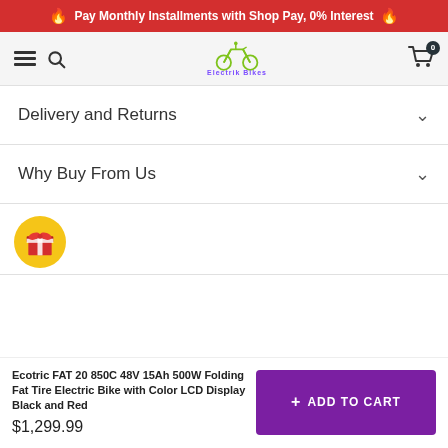Pay Monthly Installments with Shop Pay, 0% Interest
[Figure (screenshot): Navigation bar with hamburger menu, search icon, Electrik Bikes logo (green bicycle SVG), and cart icon with badge showing 0]
Delivery and Returns
Why Buy From Us
[Figure (illustration): Gold circle icon containing a red gift box with white ribbon]
Ecotric FAT 20 850C 48V 15Ah 500W Folding Fat Tire Electric Bike with Color LCD Display Black and Red
$1,299.99